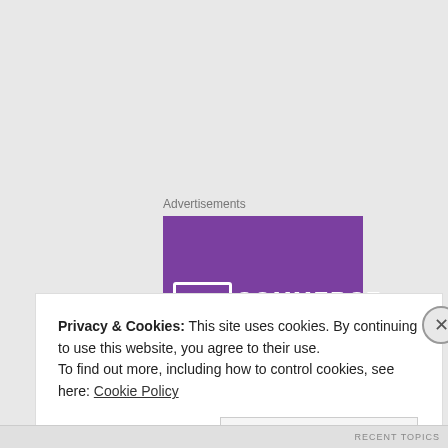Advertisements
[Figure (logo): WooCommerce advertisement banner with purple background showing WooCommerce logo in white text]
[Figure (photo): Broken image placeholder with label DSCF2303]
Privacy & Cookies: This site uses cookies. By continuing to use this website, you agree to their use.
To find out more, including how to control cookies, see here: Cookie Policy
Close and accept